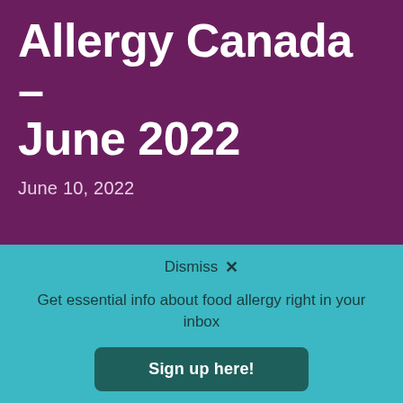Allergy Canada – June 2022
June 10, 2022
Dismiss ×
Get essential info about food allergy right in your inbox
Sign up here!